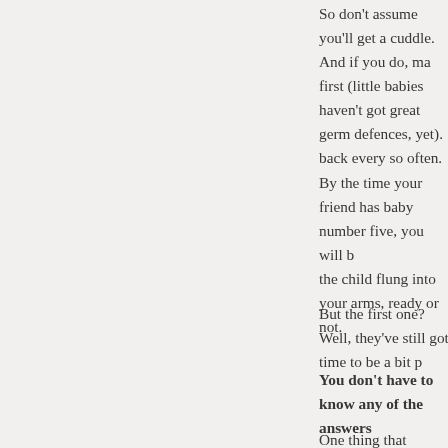So don't assume you'll get a cuddle.  And if you do, make sure you wash your hands first (little babies haven't got great germ defences, yet). And be prepared to give the baby back every so often.
By the time your friend has baby number five, you will be expected to have the child flung into your arms, ready or not.
But the first one?  Well, they've still got time to be a bit precious about it.
You don't have to know any of the answers
One thing that worried me when I first started learning how to support new parents was that as I hadn't had my own children – I wouldn't have a clue what to say or do.
I've discovered that this can actually be an advantage.
Why?  Because your friends will already know the answers for what works for them and their baby.
They just need you to point this fact out at times.
And if they need help with something specific, there are many brilliant resources out there that cover everything from feeding to helping parents decide which pram or sling to buy.